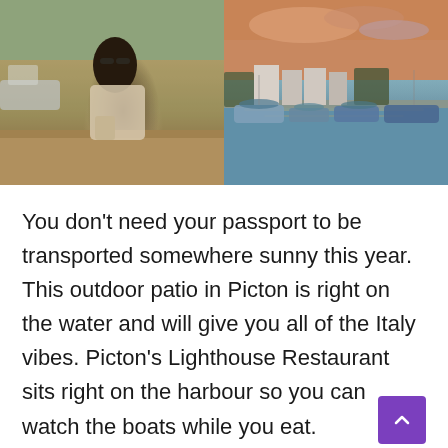[Figure (photo): Two side-by-side photos: left shows a woman with dark hair and sunglasses sitting at an outdoor marina patio holding a coffee cup; right shows a marina at sunset with boats docked and colourful sky reflected in the water.]
You don't need your passport to be transported somewhere sunny this year. This outdoor patio in Picton is right on the water and will give you all of the Italy vibes. Picton's Lighthouse Restaurant sits right on the harbour so you can watch the boats while you eat.
Nestled in the heart of Prince Edward...